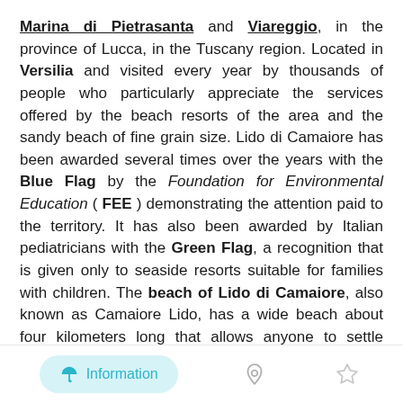Marina di Pietrasanta and Viareggio, in the province of Lucca, in the Tuscany region. Located in Versilia and visited every year by thousands of people who particularly appreciate the services offered by the beach resorts of the area and the sandy beach of fine grain size. Lido di Camaiore has been awarded several times over the years with the Blue Flag by the Foundation for Environmental Education ( FEE ) demonstrating the attention paid to the territory. It has also been awarded by Italian pediatricians with the Green Flag, a recognition that is given only to seaside resorts suitable for families with children. The beach of Lido di Camaiore, also known as Camaiore Lido, has a wide beach about four kilometers long that allows anyone to settle freely, without bothering the area of others. Ultimately, this beach is recommended for both families with children, even small ones, and for couples seeking relaxation during their beach vacation. The...
Information